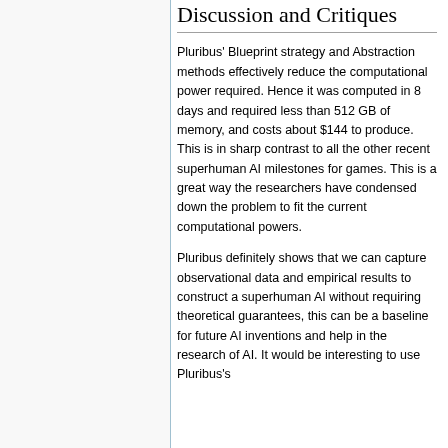Discussion and Critiques
Pluribus' Blueprint strategy and Abstraction methods effectively reduce the computational power required. Hence it was computed in 8 days and required less than 512 GB of memory, and costs about $144 to produce. This is in sharp contrast to all the other recent superhuman AI milestones for games. This is a great way the researchers have condensed down the problem to fit the current computational powers.
Pluribus definitely shows that we can capture observational data and empirical results to construct a superhuman AI without requiring theoretical guarantees, this can be a baseline for future AI inventions and help in the research of AI. It would be interesting to use Pluribus's performance as the criteria to research and